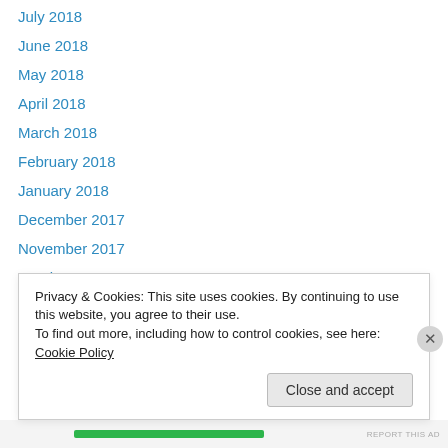July 2018
June 2018
May 2018
April 2018
March 2018
February 2018
January 2018
December 2017
November 2017
October 2017
September 2017
August 2017
July 2017
Privacy & Cookies: This site uses cookies. By continuing to use this website, you agree to their use. To find out more, including how to control cookies, see here: Cookie Policy
Close and accept